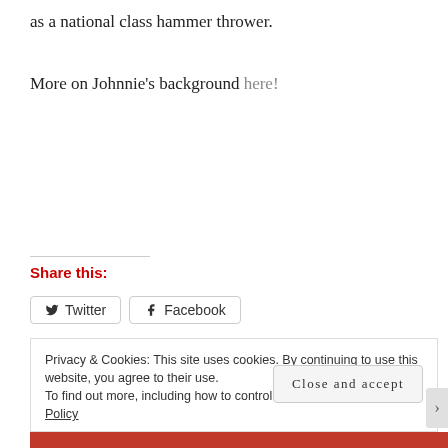as a national class hammer thrower.
More on Johnnie's background here!
Share this:
Twitter  Facebook
Privacy & Cookies: This site uses cookies. By continuing to use this website, you agree to their use.
To find out more, including how to control cookies, see here: Cookie Policy
Close and accept